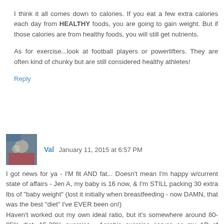I think it all comes down to calories. If you eat a few extra calories each day from HEALTHY foods, you are going to gain weight. But if those calories are from healthy foods, you will still get nutrients.
As for exercise...look at football players or powerlifters. They are often kind of chunky but are still considered healthy athletes!
Reply
Val  January 11, 2015 at 6:57 PM
I got news for ya - I'M fit AND fat... Doesn't mean I'm happy w/current state of affairs - Jen A, my baby is 16 now, & I'm STILL packing 30 extra lbs of "baby weight" (lost it initially when breastfeeding - now DAMN, that was the best "diet" I've EVER been on!)
Haven't worked out my own ideal ratio, but it's somewhere around 80-85% diet, 15-20% exercise... Aerobic exercise serves as my AD of choice, yoga for flexibility/stress relief.